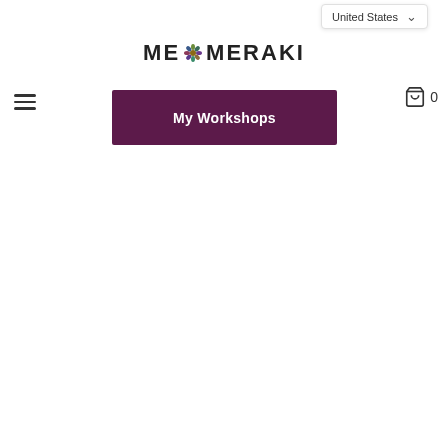United States
ME❊MERAKI
[Figure (screenshot): Hamburger menu icon (three horizontal lines) on top left]
My Workshops
[Figure (screenshot): Shopping cart icon with count 0 on top right]